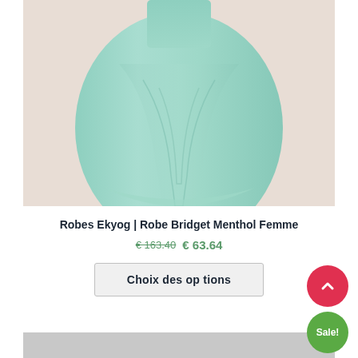[Figure (photo): A mint/menthol green chiffon dress skirt shown against a beige/rose background. The dress has flowing fabric with soft folds at the hem.]
Robes Ekyog | Robe Bridget Menthol Femme
€ 163.40  € 63.64
Choix des options